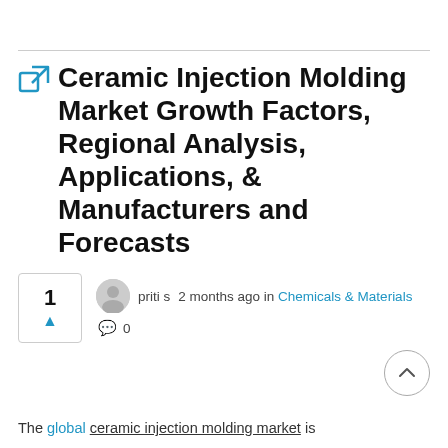🔗 Ceramic Injection Molding Market Growth Factors, Regional Analysis, Applications, & Manufacturers and Forecasts
priti s  2 months ago in Chemicals & Materials
0
The global ceramic injection molding market is